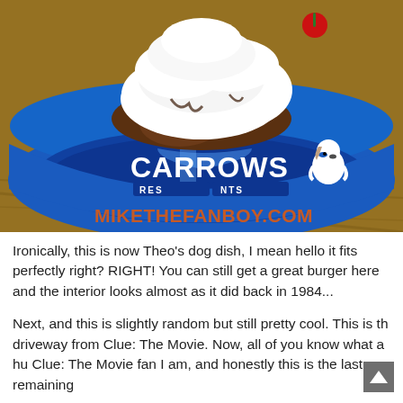[Figure (photo): A blue Carrows Restaurants dog bowl filled with ice cream, whipped cream, and chocolate sauce, sitting on a wooden table. The bowl has the Carrows Restaurants logo with Snoopy character. Watermark reads MIKETHEFANBOY.COM.]
Ironically, this is now Theo's dog dish, I mean hello it fits perfectly right? RIGHT! You can still get a great burger here and the interior looks almost as it did back in 1984...
Next, and this is slightly random but still pretty cool. This is th driveway from Clue: The Movie. Now, all of you know what a hu Clue: The Movie fan I am, and honestly this is the last remaining